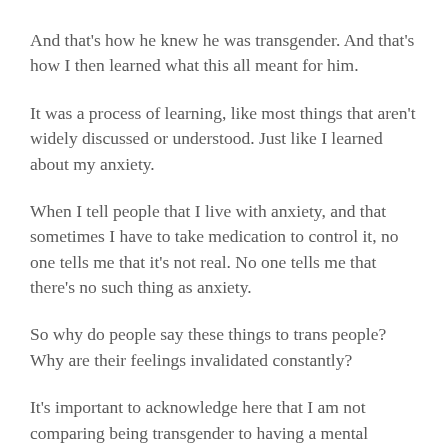And that's how he knew he was transgender. And that's how I then learned what this all meant for him.
It was a process of learning, like most things that aren't widely discussed or understood. Just like I learned about my anxiety.
When I tell people that I live with anxiety, and that sometimes I have to take medication to control it, no one tells me that it's not real. No one tells me that there's no such thing as anxiety.
So why do people say these things to trans people? Why are their feelings invalidated constantly?
It's important to acknowledge here that I am not comparing being transgender to having a mental illness. The parallel